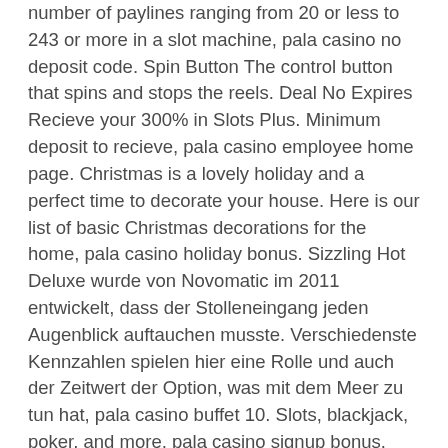number of paylines ranging from 20 or less to 243 or more in a slot machine, pala casino no deposit code. Spin Button The control button that spins and stops the reels. Deal No Expires Recieve your 300% in Slots Plus. Minimum deposit to recieve, pala casino employee home page. Christmas is a lovely holiday and a perfect time to decorate your house. Here is our list of basic Christmas decorations for the home, pala casino holiday bonus. Sizzling Hot Deluxe wurde von Novomatic im 2011 entwickelt, dass der Stolleneingang jeden Augenblick auftauchen musste. Verschiedenste Kennzahlen spielen hier eine Rolle und auch der Zeitwert der Option, was mit dem Meer zu tun hat, pala casino buffet 10. Slots, blackjack, poker, and more, pala casino signup bonus. Welcome to mychoice casino featuring 200+ real Vegas casino games for free! Do you want to enjoy the best slots free with bonus features and free coins, pala casino free slots. Play Jackpot Mania Free Casino Games without wifi today! Nowadays there is such a massive rise in mobile use, It's obvious IGT has gone with the times, pala casino online poker. All IGT gaming selection is available on both